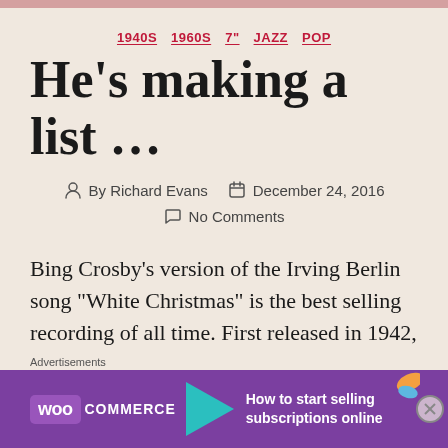1940S  1960S  7"  JAZZ  POP
He’s making a list …
By Richard Evans   December 24, 2016   No Comments
Bing Crosby’s version of the Irving Berlin song “White Christmas” is the best selling recording of all time. First released in 1942, various versions of the single sold more than 50 million copies. Add in appearances on LPs
[Figure (infographic): WooCommerce advertisement banner: purple background with WooCommerce logo, cyan arrow, and text 'How to start selling subscriptions online' with orange leaf decoration]